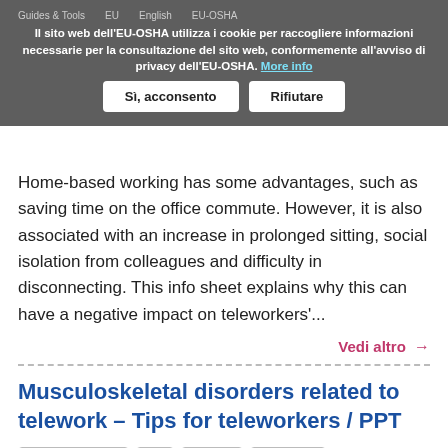Il sito web dell'EU-OSHA utilizza i cookie per raccogliere informazioni necessarie per la consultazione del sito web, conformemente all'avviso di privacy dell'EU-OSHA. More info
Sì, acconsento | Rifiutare
Home-based working has some advantages, such as saving time on the office commute. However, it is also associated with an increase in prolonged sitting, social isolation from colleagues and difficulty in disconnecting. This info sheet explains why this can have a negative impact on teleworkers'...
Vedi altro →
Musculoskeletal disorders related to telework – Tips for teleworkers / PPT
Visual resources | EU | English | EU-OSHA
This PPT focuses on home-based telework and why